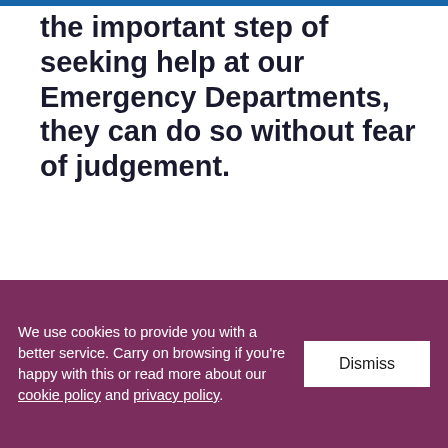the important step of seeking help at our Emergency Departments, they can do so without fear of judgement.
DR FAYE NOBLE, CONSULTANT IN EMERGENCY MEDICINE
AUTHOR
We use cookies to provide you with a better service. Carry on browsing if you're happy with this or read more about our cookie policy and privacy policy.